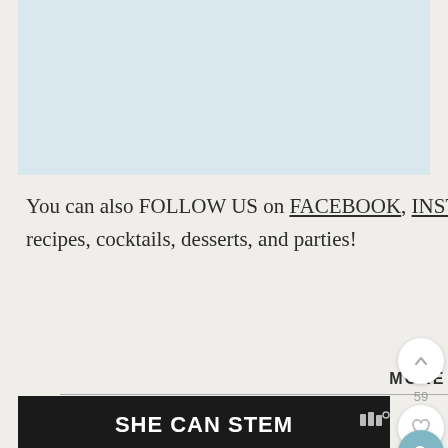[Figure (photo): Light blue/teal colored image placeholder area at the top of the page]
You can also FOLLOW US on FACEBOOK, INSTAGRAM, and PINTEREST to see more delicious recipes, cocktails, desserts, and parties!
MORE IDEAS
[Figure (screenshot): Dark banner advertisement showing 'SHE CAN STEM' in white bold text on black background]